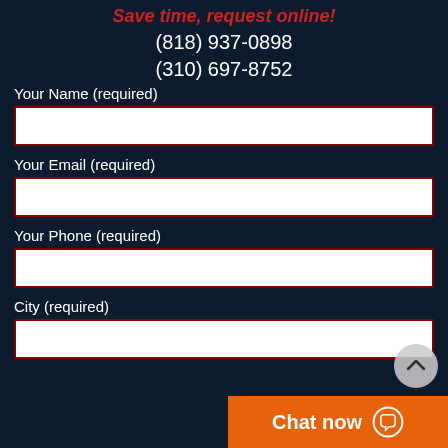Save time, request online!
(818) 937-0898
(310) 697-8752
Your Name (required)
Your Email (required)
Your Phone (required)
City (required)
Chat now